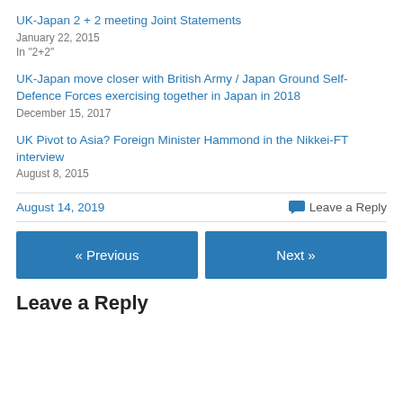UK-Japan 2 + 2 meeting Joint Statements
January 22, 2015
In "2+2"
UK-Japan move closer with British Army / Japan Ground Self-Defence Forces exercising together in Japan in 2018
December 15, 2017
UK Pivot to Asia? Foreign Minister Hammond in the Nikkei-FT interview
August 8, 2015
August 14, 2019    Leave a Reply
« Previous    Next »
Leave a Reply